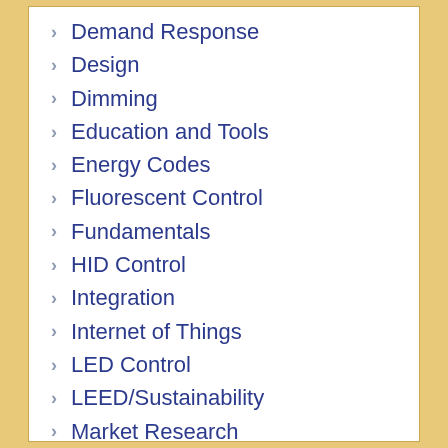Demand Response
Design
Dimming
Education and Tools
Energy Codes
Fluorescent Control
Fundamentals
HID Control
Integration
Internet of Things
LED Control
LEED/Sustainability
Market Research
Occupancy Sensors
Personal Control